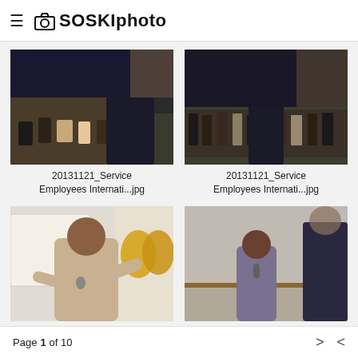≡ SOSKIphoto
[Figure (photo): Indoor event photo: presenter in dark suit with back to camera, audience of seated people in the background in a conference room]
20131121_Service Employees Internati...jpg
[Figure (photo): Indoor event photo: presenter in dark suit with back to camera, wide shot showing larger audience seated in rows in a conference room]
20131121_Service Employees Internati...jpg
[Figure (photo): Indoor event photo: large Black man in beige shirt gesturing while speaking, gold balloon decorations visible in background]
20131121_S...
[Figure (photo): Indoor event photo: woman in patterned dress speaking into microphone, another person in dark suit visible from behind on right]
20131121_Service Employees Internati...jpg
Page 1 of 10  >  <